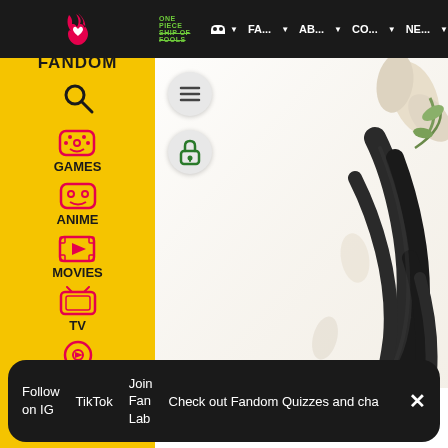ONE PIECE SHIP OF FOOLS | MA | FA... | AB... | CO... | NE...
[Figure (screenshot): Fandom website sidebar with yellow background showing FANDOM logo, search icon, GAMES, ANIME, MOVIES, TV, VIDEO categories with icons]
[Figure (illustration): Anime character art showing dark flowing hair/tendrils and floral elements on white background]
Follow on IG   TikTok   Join Fan Lab   Check out Fandom Quizzes and cha   ✕